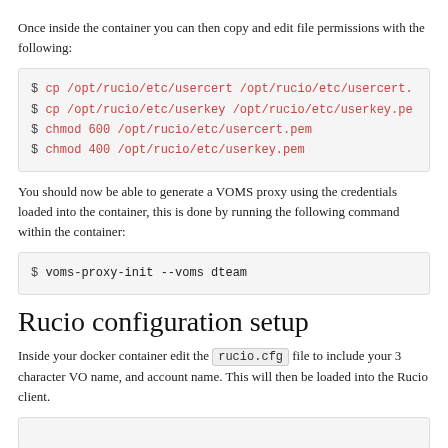Once inside the container you can then copy and edit file permissions with the following:
[Figure (screenshot): Code block showing shell commands: $ cp /opt/rucio/etc/usercert /opt/rucio/etc/usercert. and $ cp /opt/rucio/etc/userkey /opt/rucio/etc/userkey.pe and $ chmod 600 /opt/rucio/etc/usercert.pem and $ chmod 400 /opt/rucio/etc/userkey.pem]
You should now be able to generate a VOMS proxy using the credentials loaded into the container, this is done by running the following command within the container:
[Figure (screenshot): Code block showing: $ voms-proxy-init --voms dteam]
Rucio configuration setup
Inside your docker container edit the rucio.cfg file to include your 3 character VO name, and account name. This will then be loaded into the Rucio client.
[Figure (screenshot): Start of another code block at bottom of page]